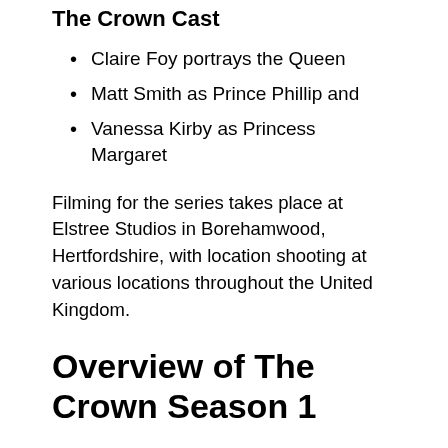The Crown Cast
Claire Foy portrays the Queen
Matt Smith as Prince Phillip and
Vanessa Kirby as Princess Margaret
Filming for the series takes place at Elstree Studios in Borehamwood, Hertfordshire, with location shooting at various locations throughout the United Kingdom.
Overview of The Crown Season 1
The entire first season was released on Netflix on November 4, 2016. The series received overwhelmingly positive reception, with critics praising cast performances,